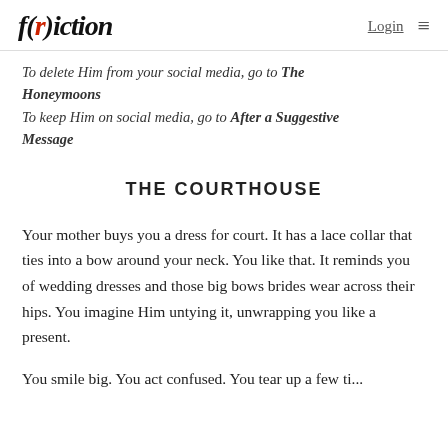f(r)iction  Login
To delete Him from your social media, go to The Honeymoons
To keep Him on social media, go to After a Suggestive Message
THE COURTHOUSE
Your mother buys you a dress for court. It has a lace collar that ties into a bow around your neck. You like that. It reminds you of wedding dresses and those big bows brides wear across their hips. You imagine Him untying it, unwrapping you like a present.
You smile big. You act confused. You tear up a few ti...